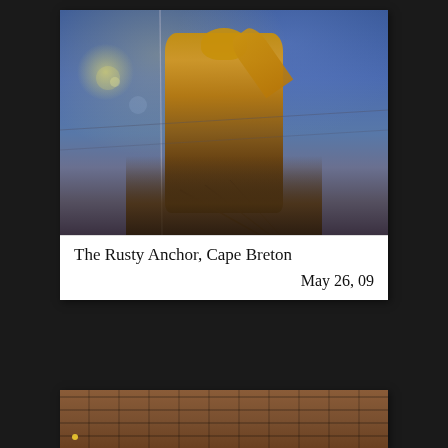[Figure (photo): Polaroid-style photograph of a fisherman statue or figure in a yellow slicker with one arm raised, mounted on a structure with ropes and rigging, against a blue sky. Caption reads 'The Rusty Anchor, Cape Breton' and date 'May 26, 09'.]
The Rusty Anchor, Cape Breton
May 26, 09
[Figure (photo): Partial view of a second Polaroid photograph showing a brick wall, partially visible at the bottom of the page.]